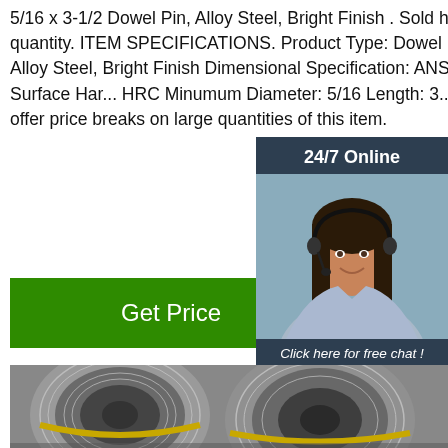5/16 x 3-1/2 Dowel Pin, Alloy Steel, Bright Finish . Sold here in a bulk quantity. ITEM SPECIFICATIONS. Product Type: Dowel Pin Material: Alloy Steel, Bright Finish Dimensional Specification: ANSI B18.8.2 Surface Har... HRC Minumum Diameter: 5/16 Length: 3... 1/2') Note: We offer price breaks on large quantities of this item.
[Figure (other): Green 'Get Price' button]
[Figure (infographic): 24/7 Online chat widget with woman wearing headset, 'Click here for free chat!' text, and orange QUOTATION button]
[Figure (photo): Steel coils/rolls stored in warehouse, showing large metal coil rolls with yellow strapping bands]